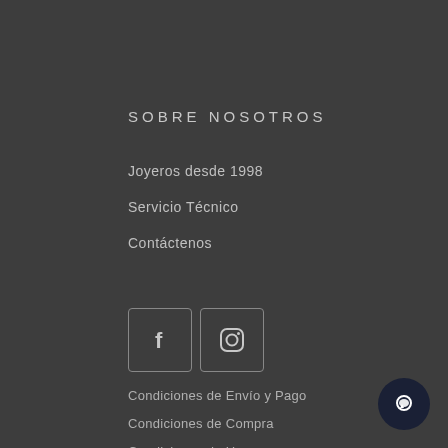SOBRE NOSOTROS
Joyeros desde 1998
Servicio Técnico
Contáctenos
[Figure (illustration): Facebook and Instagram social media icon buttons in rounded square outlines]
Condiciones de Envío y Pago
Condiciones de Compra
Condiciones de Uso
[Figure (illustration): Round dark chat bubble button in bottom right corner]